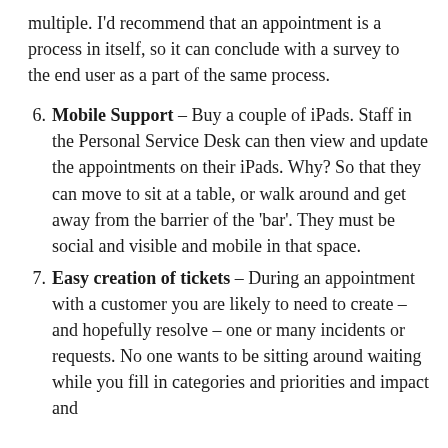multiple. I'd recommend that an appointment is a process in itself, so it can conclude with a survey to the end user as a part of the same process.
6. Mobile Support – Buy a couple of iPads. Staff in the Personal Service Desk can then view and update the appointments on their iPads. Why? So that they can move to sit at a table, or walk around and get away from the barrier of the 'bar'. They must be social and visible and mobile in that space.
7. Easy creation of tickets – During an appointment with a customer you are likely to need to create – and hopefully resolve – one or many incidents or requests. No one wants to be sitting around waiting while you fill in categories and priorities and impact and